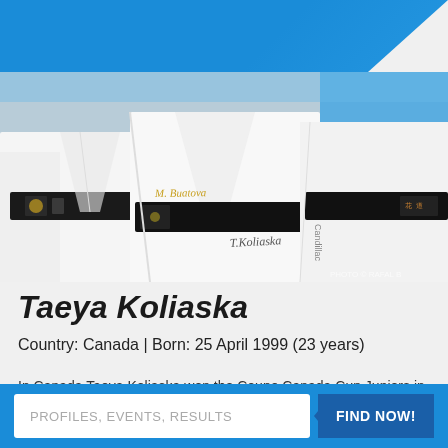JudoInside.com
[Figure (photo): Close-up photo of judo athletes in white gi uniforms wearing black belts with names embroidered. Belt names visible include 'M. Buatova' and 'T.Koliaska'. Photo credit visible in bottom right corner.]
Taeya Koliaska
Country: Canada | Born: 25 April 1999 (23 years)
In Canada Taeya Koliaska won the Coupe Canada Cup Juniors in
PROFILES, EVENTS, RESULTS   FIND NOW!